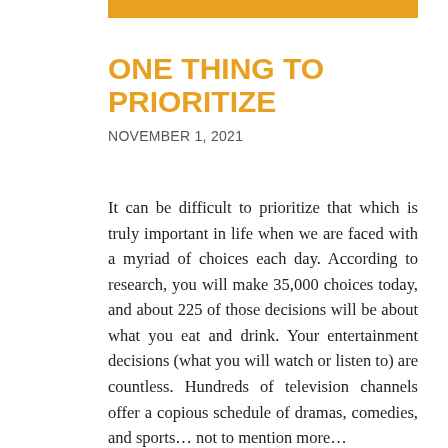[Figure (other): Orange horizontal bar at top]
ONE THING TO PRIORITIZE
NOVEMBER 1, 2021
It can be difficult to prioritize that which is truly important in life when we are faced with a myriad of choices each day. According to research, you will make 35,000 choices today, and about 225 of those decisions will be about what you eat and drink. Your entertainment decisions (what you will watch or listen to) are countless. Hundreds of television channels offer a copious schedule of dramas, comedies, and sports… not to mention more…